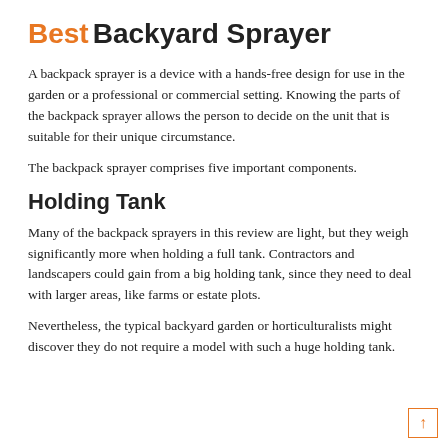Best Backyard Sprayer
A backpack sprayer is a device with a hands-free design for use in the garden or a professional or commercial setting. Knowing the parts of the backpack sprayer allows the person to decide on the unit that is suitable for their unique circumstance.
The backpack sprayer comprises five important components.
Holding Tank
Many of the backpack sprayers in this review are light, but they weigh significantly more when holding a full tank. Contractors and landscapers could gain from a big holding tank, since they need to deal with larger areas, like farms or estate plots.
Nevertheless, the typical backyard garden or horticulturalists might discover they do not require a model with such a huge holding tank.